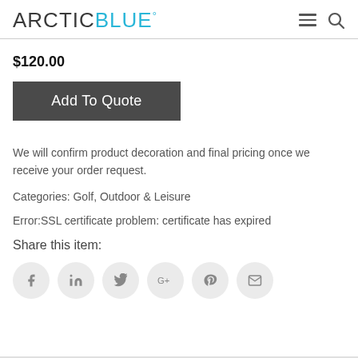ARCTIC BLUE°
$120.00
Add To Quote
We will confirm product decoration and final pricing once we receive your order request.
Categories: Golf, Outdoor & Leisure
Error:SSL certificate problem: certificate has expired
Share this item:
[Figure (other): Social sharing icons: Facebook, LinkedIn, Twitter, Google+, Pinterest, Email — each in a light grey circle]